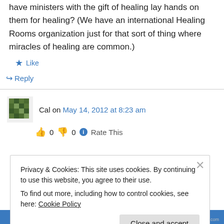have ministers with the gift of healing lay hands on them for healing? (We have an international Healing Rooms organization just for that sort of thing where miracles of healing are common.)
★ Like
↪ Reply
Cal on May 14, 2012 at 8:23 am
👍 0 👎 0 ℹ Rate This
Privacy & Cookies: This site uses cookies. By continuing to use this website, you agree to their use.
To find out more, including how to control cookies, see here: Cookie Policy
Close and accept